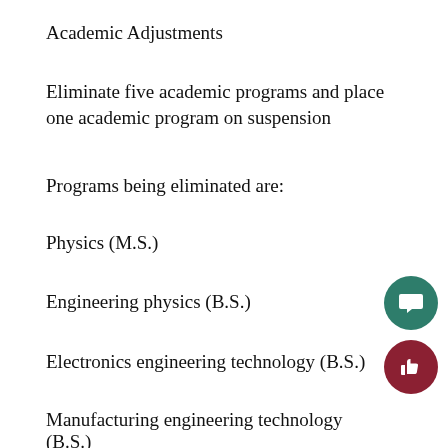Academic Adjustments
Eliminate five academic programs and place one academic program on suspension
Programs being eliminated are:
Physics (M.S.)
Engineering physics (B.S.)
Electronics engineering technology (B.S.)
Manufacturing engineering technology (B.S.)
Career and technical education (B.S.Ed.)